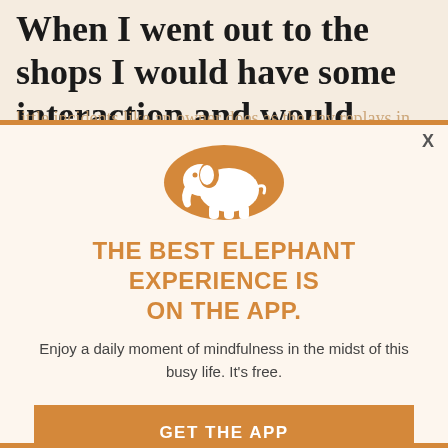When I went out to the shops I would have some interaction and would think about the
little incidents like an owner does as the day replays in our minds. I thought of the lady who was at the checkout in the shops earlier, she wasn't just doing her job, she smiled. rapport. Imagining over eight hours my troubles, if only a mo for a minute or two by diverting his attention and making me smile and rare. Gratitude Journal will feed
[Figure (illustration): Orange circle with white elephant silhouette logo]
THE BEST ELEPHANT EXPERIENCE IS ON THE APP.
Enjoy a daily moment of mindfulness in the midst of this busy life. It's free.
GET THE APP
OPEN IN APP